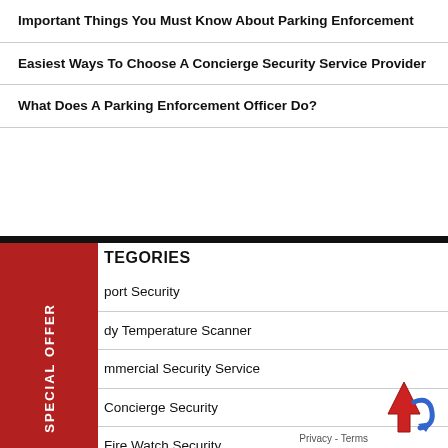Important Things You Must Know About Parking Enforcement
Easiest Ways To Choose A Concierge Security Service Provider
What Does A Parking Enforcement Officer Do?
CATEGORIES
Airport Security
Body Temperature Scanner
Commercial Security Service
Concierge Security
Fire Watch Security
Forehead Scanners
Mobile Patrol Security
[Figure (illustration): Back to top button with red arrow and reCAPTCHA logo]
Privacy - Terms